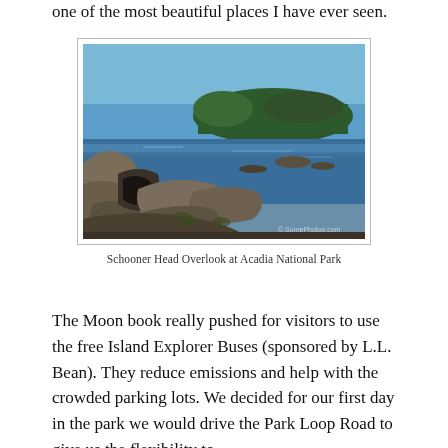one of the most beautiful places I have ever seen.
[Figure (photo): Coastal rocky shoreline at Schooner Head Overlook at Acadia National Park, showing rugged granite rocks in the foreground, calm blue ocean water in the middle, and a forested headland under clear blue sky in the background.]
Schooner Head Overlook at Acadia National Park
The Moon book really pushed for visitors to use the free Island Explorer Buses (sponsored by L.L. Bean). They reduce emissions and help with the crowded parking lots. We decided for our first day in the park we would drive the Park Loop Road to give us the flexibility to